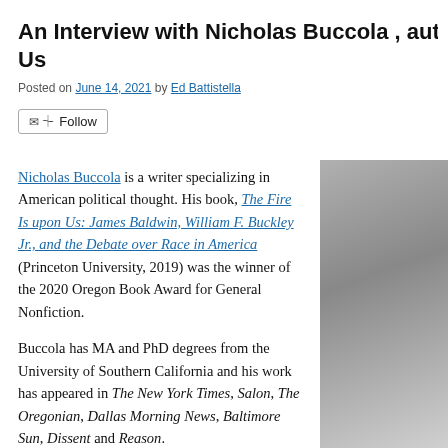An Interview with Nicholas Buccola , auth… Us
Posted on June 14, 2021 by Ed Battistella
Follow
Nicholas Buccola is a writer specializing in American political thought. His book, The Fire Is upon Us: James Baldwin, William F. Buckley Jr., and the Debate over Race in America (Princeton University, 2019) was the winner of the 2020 Oregon Book Award for General Nonfiction.
Buccola has MA and PhD degrees from the University of Southern California and his work has appeared in The New York Times, Salon, The Oregonian, Dallas Morning News, Baltimore Sun, Dissent and Reason.
[Figure (photo): Black and white photo of Nicholas Buccola, partially visible on the right side of the page]